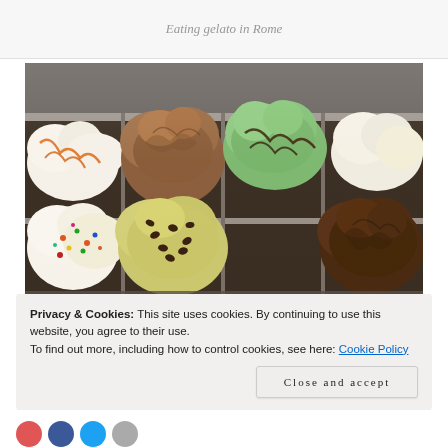Eating gelato in Rome
[Figure (photo): Close-up photo of a gelato display case showing multiple flavors including white/vanilla with orange drizzle, brown/tiramisu, green/pistachio with chocolate drizzle, yellow-green/pistachio with chocolate chips, white with sprinkles, and dark chocolate gelato, all displayed in metal trays.]
Privacy & Cookies: This site uses cookies. By continuing to use this website, you agree to their use.
To find out more, including how to control cookies, see here: Cookie Policy
Close and accept